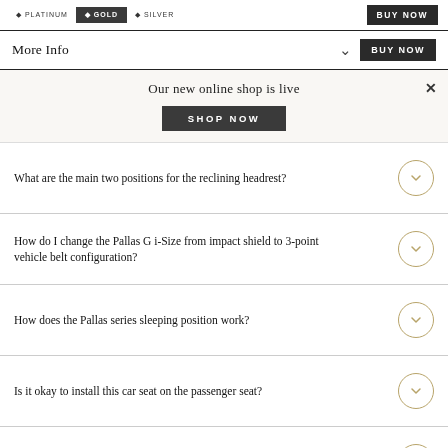PLATINUM | GOLD | SILVER | BUY NOW
More Info ∨ BUY NOW
Our new online shop is live SHOP NOW ×
What are the main two positions for the reclining headrest?
How do I change the Pallas G i-Size from impact shield to 3-point vehicle belt configuration?
How does the Pallas series sleeping position work?
Is it okay to install this car seat on the passenger seat?
Will my child feel constrained in the car seat because of the impact shield?